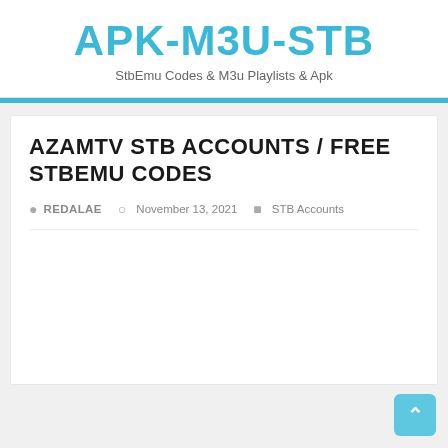APK-M3U-STB
StbEmu Codes & M3u Playlists & Apk
AZAMTV STB ACCOUNTS / FREE STBEMU CODES
REDALAE   November 13, 2021   STB Accounts